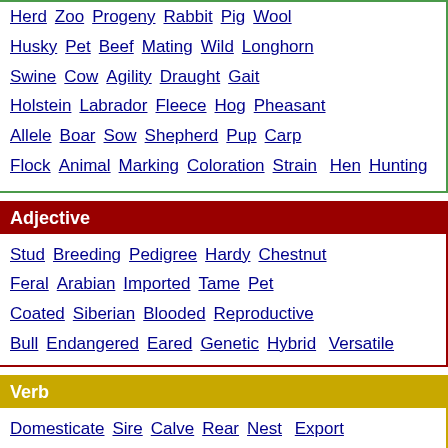Herd Zoo Progeny Rabbit Pig Wool Husky Pet Beef Mating Wild Longhorn Swine Cow Agility Draught Gait Holstein Labrador Fleece Hog Pheasant Allele Boar Sow Shepherd Pup Carp Flock Animal Marking Coloration Strain Hen Hunting
Adjective
Stud Breeding Pedigree Hardy Chestnut Feral Arabian Imported Tame Pet Coated Siberian Blooded Reproductive Bull Endangered Eared Genetic Hybrid Versatile
Verb
Domesticate Sire Calve Rear Nest Export